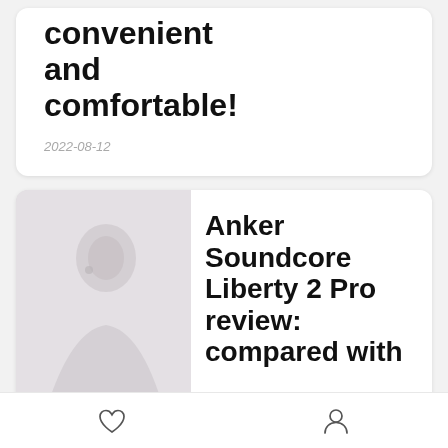convenient and comfortable!
2022-08-12
Anker Soundcore Liberty 2 Pro review: compared with
[Figure (photo): A person wearing earbuds shown in a muted/faded photograph, used as a thumbnail for the article.]